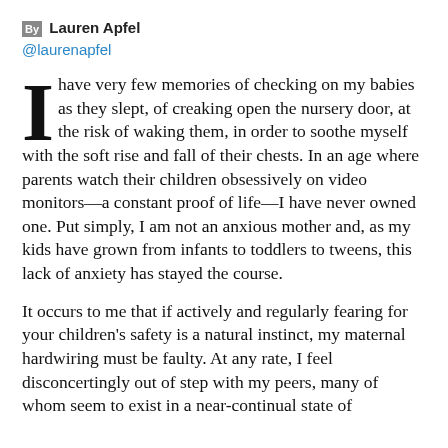By Lauren Apfel @laurenapfel
I have very few memories of checking on my babies as they slept, of creaking open the nursery door, at the risk of waking them, in order to soothe myself with the soft rise and fall of their chests. In an age where parents watch their children obsessively on video monitors—a constant proof of life—I have never owned one. Put simply, I am not an anxious mother and, as my kids have grown from infants to toddlers to tweens, this lack of anxiety has stayed the course.
It occurs to me that if actively and regularly fearing for your children's safety is a natural instinct, my maternal hardwiring must be faulty. At any rate, I feel disconcertingly out of step with my peers, many of whom seem to exist in a near-continual state of